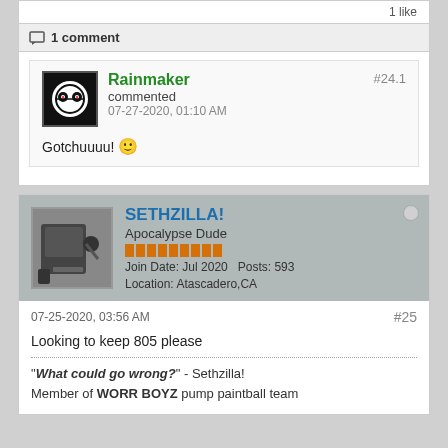1 like
1 comment
Rainmaker
#24.1
commented
07-27-2020, 01:10 AM
Gotchuuuu! 🙂
SETHZILLA!
Apocalypse Dude
Join Date: Jul 2020   Posts: 593
Location: Atascadero,CA
07-25-2020, 03:56 AM
#25
Looking to keep 805 please
"What could go wrong?" - Sethzilla!
Member of WORR BOYZ pump paintball team